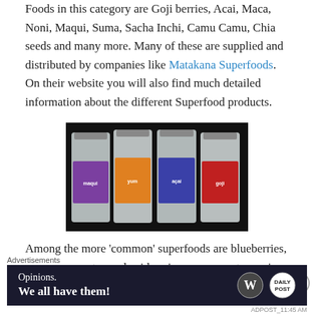Foods in this category are Goji berries, Acai, Maca, Noni, Maqui, Suma, Sacha Inchi, Camu Camu, Chia seeds and many more. Many of these are supplied and distributed by companies like Matakana Superfoods. On their website you will also find much detailed information about the different Superfood products.
[Figure (photo): Four silver foil pouches of superfood products labeled maqui (purple label), yum (orange label), açaí (blue label), and goji (red label), arranged side by side against a black background.]
Among the more 'common' superfoods are blueberries, young coconuts, apple cider vinegar, cacao, turmeric,
Advertisements
[Figure (screenshot): Advertisement banner with dark background reading 'Opinions. We all have them!' with WordPress and Daily Post logos.]